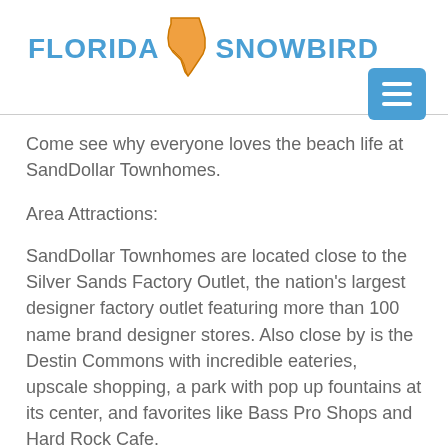FLORIDA SNOWBIRD
Come see why everyone loves the beach life at SandDollar Townhomes.
Area Attractions:
SandDollar Townhomes are located close to the Silver Sands Factory Outlet, the nation's largest designer factory outlet featuring more than 100 name brand designer stores. Also close by is the Destin Commons with incredible eateries, upscale shopping, a park with pop up fountains at its center, and favorites like Bass Pro Shops and Hard Rock Cafe.
Nearby is Destin Commons, a beautifully landscaped, pedestrian-friendly area and a great family venue